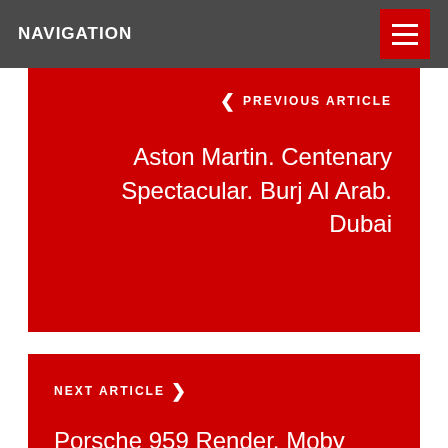NAVIGATION
< PREVIOUS ARTICLE
Aston Martin. Centenary Spectacular. Burj Al Arab. Dubai
NEXT ARTICLE >
Porsche 959 Render. Moby Dick. A Second Work Of Fiction
RELATED POSTS
[Figure (photo): Close-up black and white photo of a luxury watch movement/dial]
LIFESTYLE